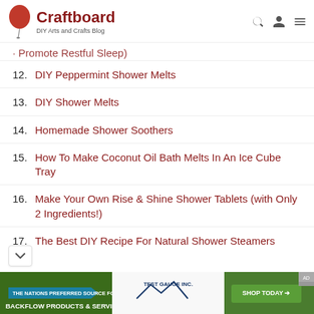Craftboard — DIY Arts and Crafts Blog
Promote Restful Sleep)
12. DIY Peppermint Shower Melts
13. DIY Shower Melts
14. Homemade Shower Soothers
15. How To Make Coconut Oil Bath Melts In An Ice Cube Tray
16. Make Your Own Rise & Shine Shower Tablets (with Only 2 Ingredients!)
17. The Best DIY Recipe For Natural Shower Steamers
[Figure (infographic): Advertisement banner for Test Gauge Inc. — The Nations Preferred Source For Backflow Products & Services with Shop Today button]